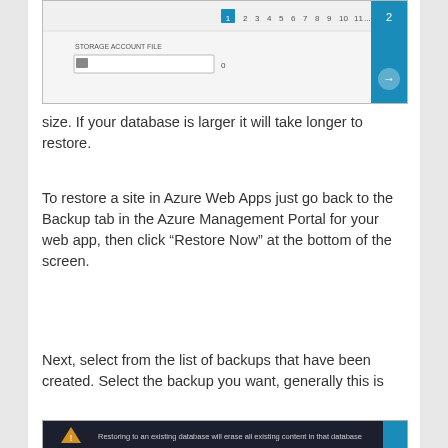[Figure (screenshot): Partial screenshot of Azure portal showing a storage account file input with pagination controls and a blue sidebar with arrow navigation button]
size. If your database is larger it will take longer to restore.
To restore a site in Azure Web Apps just go back to the Backup tab in the Azure Management Portal for your web app, then click “Restore Now” at the bottom of the screen.
Next, select from the list of backups that have been created. Select the backup you want, generally this is
[Figure (screenshot): Partial screenshot showing bottom portion of Azure portal with dark background and warning text about restoring a database]